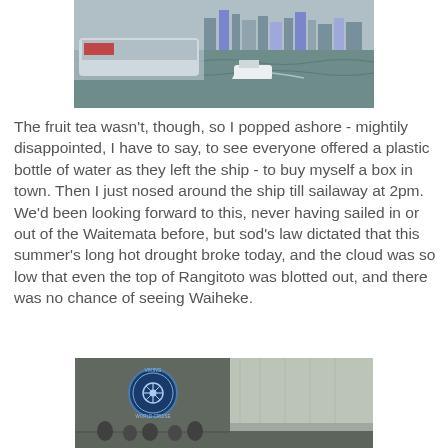[Figure (photo): Harbour view with cruise ship terminal, city skyline, and a ferry on the water on an overcast day.]
The fruit tea wasn't, though, so I popped ashore - mightily disappointed, I have to say, to see everyone offered a plastic bottle of water as they left the ship - to buy myself a box in town. Then I just nosed around the ship till sailaway at 2pm. We'd been looking forward to this, never having sailed in or out of the Waitemata before, but sod's law dictated that this summer's long hot drought broke today, and the cloud was so low that even the top of Rangitoto was blotted out, and there was no chance of seeing Waiheke.
[Figure (photo): Ship terminal or gangway area showing a Viking World Cruise emblem/sign on a dark panel, with people visible below and a glass-roofed structure in the background.]